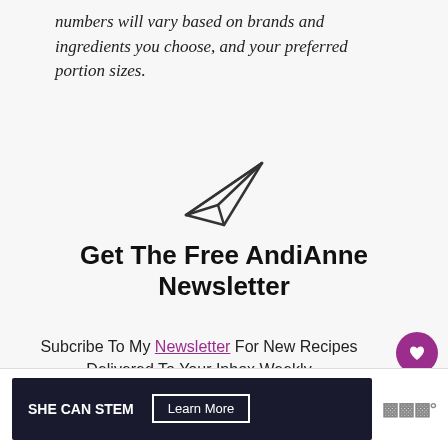numbers will vary based on brands and ingredients you choose, and your preferred portion sizes.
[Figure (illustration): Paper plane / send icon outline]
Get The Free AndiAnne Newsletter
Subcribe To My Newsletter For New Recipes Delivered To Your Inbox Weekly
[Figure (other): What's Next panel: 7 Tofu Marinades...]
[Figure (other): SHE CAN STEM advertisement banner with Learn More button]